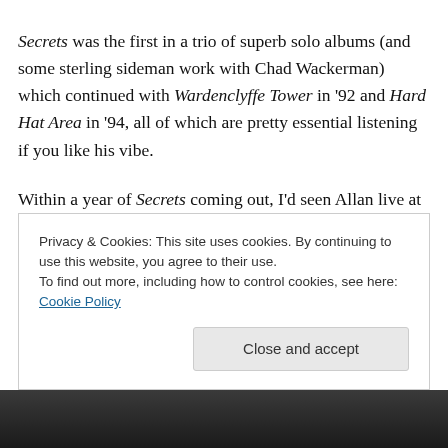Secrets was the first in a trio of superb solo albums (and some sterling sideman work with Chad Wackerman) which continued with Wardenclyffe Tower in '92 and Hard Hat Area in '94, all of which are pretty essential listening if you like his vibe.

Within a year of Secrets coming out, I'd seen Allan live at the Bloomsbury Theatre in London and also checked out his month-long guest spot with Level 42 at Hammersmith Odeon throughout December 1990 (and some brilliant
Privacy & Cookies: This site uses cookies. By continuing to use this website, you agree to their use.
To find out more, including how to control cookies, see here: Cookie Policy
[Figure (photo): Dark photo strip at the bottom of the page, partially obscured by cookie banner]